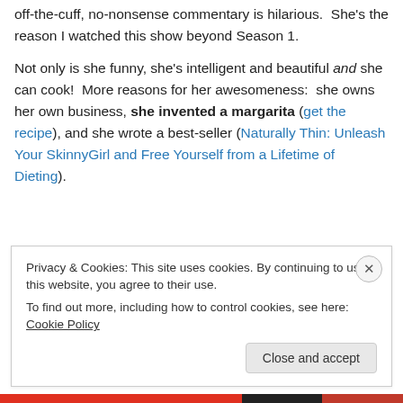off-the-cuff, no-nonsense commentary is hilarious.  She's the reason I watched this show beyond Season 1.
Not only is she funny, she's intelligent and beautiful and she can cook!  More reasons for her awesomeness:  she owns her own business, she invented a margarita (get the recipe), and she wrote a best-seller (Naturally Thin: Unleash Your SkinnyGirl and Free Yourself from a Lifetime of Dieting).
Privacy & Cookies: This site uses cookies. By continuing to use this website, you agree to their use.
To find out more, including how to control cookies, see here: Cookie Policy
Close and accept